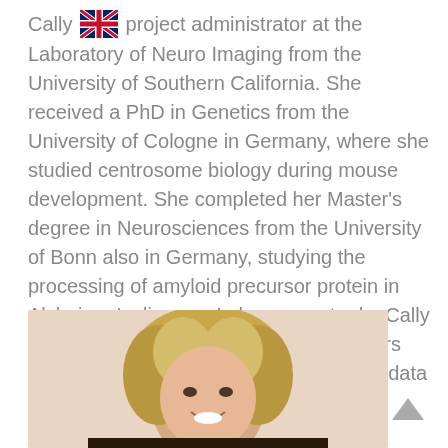Cally [flag] project administrator at the Laboratory of Neuro Imaging from the University of Southern California. She received a PhD in Genetics from the University of Cologne in Germany, where she studied centrosome biology during mouse development. She completed her Master's degree in Neurosciences from the University of Bonn also in Germany, studying the processing of amyloid precursor protein in Alzheimer's disease. In her current role, Cally connects Alzheimer's disease researchers around the world with a common goal of data sharing.
[Figure (photo): Portrait photo of a young woman with curly blonde hair, smiling, against a light beige/peach background.]